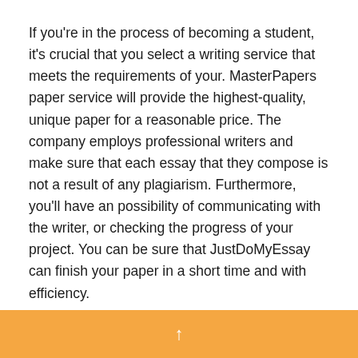If you're in the process of becoming a student, it's crucial that you select a writing service that meets the requirements of your. MasterPapers paper service will provide the highest-quality, unique paper for a reasonable price. The company employs professional writers and make sure that each essay that they compose is not a result of any plagiarism. Furthermore, you'll have an possibility of communicating with the writer, or checking the progress of your project. You can be sure that JustDoMyEssay can finish your paper in a short time and with efficiency.
It is possible to save money as well as time. PapersOwl has three levels of loyalty which will allow you to get discount on your order. After joining the program, you'll receive discounts of up to 5% off your initial purchase. After you've reached the third level at which point you're able to go to your next discount
↑